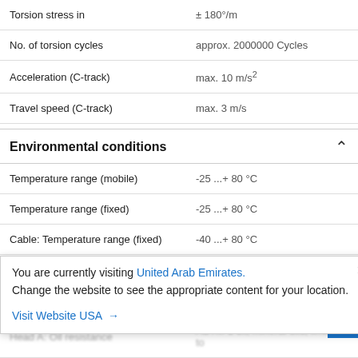| Property | Value |
| --- | --- |
| Torsion stress in | ± 180°/m |
| No. of torsion cycles | approx. 2000000 Cycles |
| Acceleration (C-track) | max. 10 m/s² |
| Travel speed (C-track) | max. 3 m/s |
Environmental conditions
| Property | Value |
| --- | --- |
| Temperature range (mobile) | -25 ...+ 80 °C |
| Temperature range (fixed) | -25 ...+ 80 °C |
| Cable: Temperature range (fixed) | -40 ...+ 80 °C |
| Head A: Chemical resistance | n.b. |
| Head A: Flame resistance | HB (UL 94) |
| Head A: Oil resistance | ASTM 1 oil, mineral oils, limited to |
You are currently visiting United Arab Emirates. Change the website to see the appropriate content for your location.
Visit Website USA →